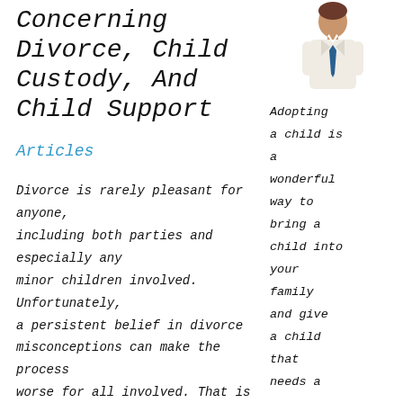Concerning Divorce, Child Custody, And Child Support
Articles
Divorce is rarely pleasant for anyone, including both parties and especially any minor children involved. Unfortunately, a persistent belief in divorce misconceptions can make the process worse for all involved. That is is why it is important to understand the truth from a legal perspective and dispel misconceptions.
[Figure (illustration): Cartoon illustration of a man in a suit with a blue tie, representing a lawyer or professional.]
Adopting a child is a wonderful way to bring a child into your family and give a child that needs a